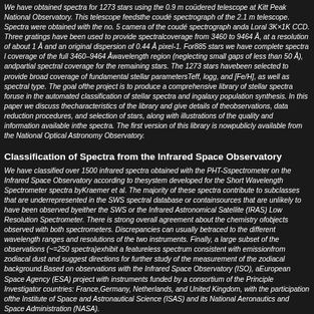We have obtained spectra for 1273 stars using the 0.9 m coüdered telescope at Kitt Peak National Observatory. This telescope feedsthe coudé spectrograph of the 2.1 m telescope. Spectra were obtained with the no. 5 camera of the coudé spectrograph anda Loral 3K×1K CCD. Three gratings have been used to provide spectralcoverage from 3460 to 9464 Å, at a resolution of about 1 Å and an original dispersion of 0.44 Å pixel-1. For885 stars we have complete spectral coverage of the full 3460–9464 Åwavelength region (neglecting small gaps of less than 50 Å), andpartial spectral coverage for the remaining stars. The 1273 stars havebeen selected to provide broad coverage of fundamental stellar parametersTeff, logg, and [Fe/H], as well as spectral type. The goal ofthe project is to produce a comprehensive library of stellar spectra foruse in the automated classification of stellar spectra and ingalaxy population synthesis. In this paper we discuss thecharacteristics of the library and give details of theobservations, data reduction procedures, and selection of stars, along with illustrations of the quality and information available inthe spectra. The first version of this library is nowpublicly available from the National Optical Astronomy Observatory.
Classification of Spectra from the Infrared Space Observatory
We have classified over 1500 infrared spectra obtained with the PHT-Sspectrometer on the Infrared Space Observatory according to thesystem developed for the Short Wavelength Spectrometer spectra byKraemer et al. The majority of these spectra contribute to subclasses that are underrepresented in the SWS spectral database or containsources that are unlikely to have been observed byeither the SWS or the Infrared Astronomical Satellite (IRAS) Low Resolution Spectrometer. There is strong overall agreement about the chemistry ofobjects observed with both spectrometers. Discrepancies can usually betraced to the different wavelength ranges and resolutions of the two instruments. Finally, a large subset of the observations (~=250 spectra)exhibit a featureless spectrum consistent with emissionfrom zodiacal dust and suggest directions for further study of the measurement of the zodiacal background.Based on observations with the Infrared Space Observatory (ISO), aEuropean Space Agency (ESA) project with instruments funded by a consortium of the Principle Investigator countries: France,Germany, Netherlands, and United Kingdom, with the participation ofthe Institute of Space and Astronautical Science (ISAS) and the National Aeronautics and Space Administration (NASA).